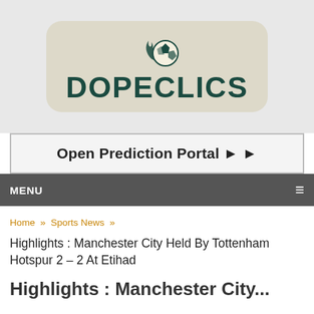[Figure (logo): Dopeclics logo with soccer ball with flames above the text DOPECLICS in bold dark teal letters on a tan/cream rounded rectangle background]
Open Prediction Portal ▶ ▶
MENU ≡
Home » Sports News »
Highlights : Manchester City Held By Tottenham Hotspur 2 – 2 At Etihad
Highlights : Manchester City...